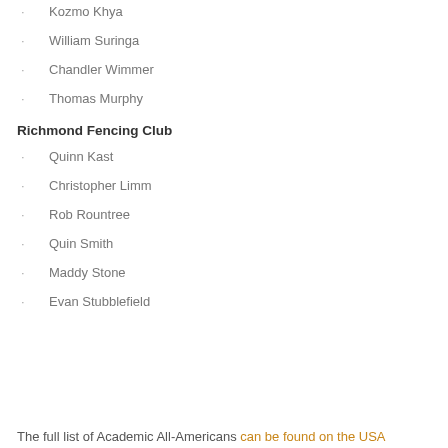Kozmo Khya
William Suringa
Chandler Wimmer
Thomas Murphy
Richmond Fencing Club
Quinn Kast
Christopher Limm
Rob Rountree
Quin Smith
Maddy Stone
Evan Stubblefield
The full list of Academic All-Americans can be found on the USA